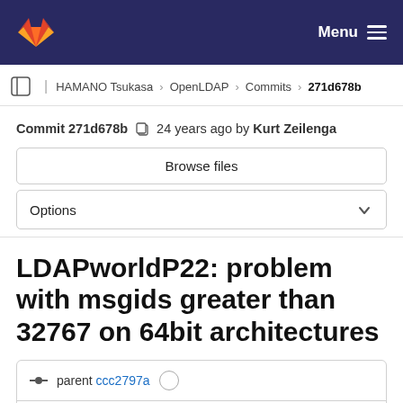Menu
HAMANO Tsukasa > OpenLDAP > Commits > 271d678b
Commit 271d678b  24 years ago by Kurt Zeilenga
Browse files
Options
LDAPworldP22: problem with msgids greater than 32767 on 64bit architectures
parent ccc2797a